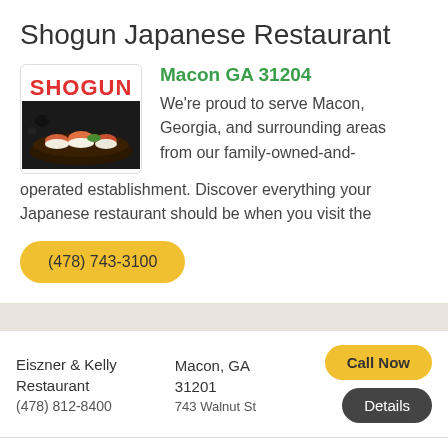Shogun Japanese Restaurant
[Figure (logo): Shogun restaurant logo with red SHOGUN text and sushi food image below]
Macon GA 31204
We're proud to serve Macon, Georgia, and surrounding areas from our family-owned-and-operated establishment. Discover everything your Japanese restaurant should be when you visit the
(478) 743-3100
Eiszner & Kelly Restaurant
(478) 812-8400
Macon, GA 31201
743 Walnut St
Call Now
Details
Fattys Pizza
(478) 744-9880
Macon, GA 31201
344 2nd St
Call Now
Details